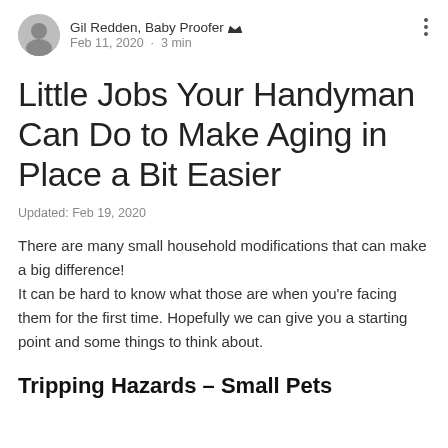Gil Redden, Baby Proofer  Feb 11, 2020 · 3 min
Little Jobs Your Handyman Can Do to Make Aging in Place a Bit Easier
Updated: Feb 19, 2020
There are many small household modifications that can make a big difference!
It can be hard to know what those are when you're facing them for the first time. Hopefully we can give you a starting point and some things to think about.
Tripping Hazards – Small Pets and Things R...